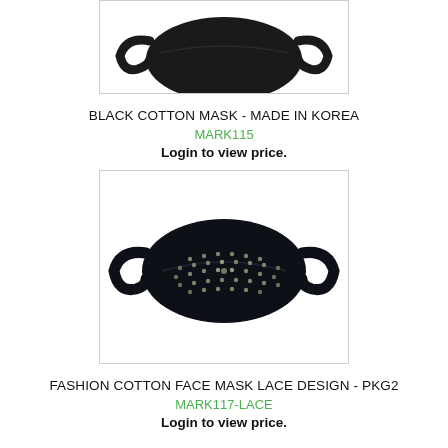[Figure (photo): Black cotton face mask partially visible at top of page, shown against white background inside a light gray bordered box]
BLACK COTTON MASK - MADE IN KOREA
MARK115
Login to view price.
[Figure (photo): Dark navy/black fashion cotton face mask with rhinestone lace design, oval shaped with ear loops on both sides, shown against white background inside a light gray bordered box]
FASHION COTTON FACE MASK LACE DESIGN - PKG2
MARK117-LACE
Login to view price.